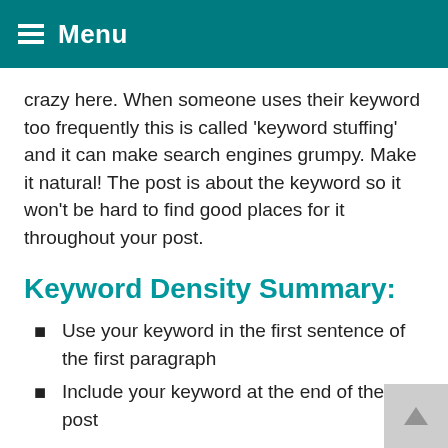Menu
crazy here. When someone uses their keyword too frequently this is called 'keyword stuffing' and it can make search engines grumpy. Make it natural! The post is about the keyword so it won't be hard to find good places for it throughout your post.
Keyword Density Summary:
Use your keyword in the first sentence of the first paragraph
Include your keyword at the end of the post